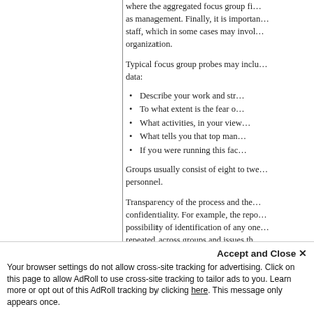where the aggregated focus group fi... as management. Finally, it is importan... staff, which in some cases may invol... organization.
Typical focus group probes may inclu... data:
Describe your work and str...
To what extent is the fear o...
What activities, in your view...
What tells you that top man...
If you were running this fac...
Groups usually consist of eight to twe... personnel.
Transparency of the process and the... confidentiality. For example, the repo... possibility of identification of any one... repeated across groups and issues th... to provide valuable information.
Staff survey. Workplace violence pre... benefit from carefully constructed sta... assess the level of verbal and physic...
Accept and Close ✕
Your browser settings do not allow cross-site tracking for advertising. Click on this page to allow AdRoll to use cross-site tracking to tailor ads to you. Learn more or opt out of this AdRoll tracking by clicking here. This message only appears once.